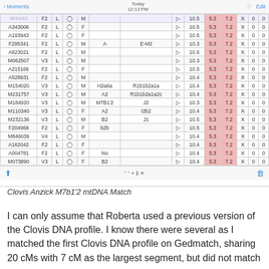[Figure (screenshot): Mobile app screenshot showing a DNA match table with columns for ID, kit type, L, checkbox, sex, haplogroup mtDNA, link icon, numeric scores (10.x), two pink-highlighted columns (5.3, 7.2), and X/0/0 columns. Rows include A343006, A193943, F295341, A623021, M062507, A215166, A528631, M154020, M231757, M184920, M110340, M232136, F204966, M846039, A162042, A004781, M073890.]
Clovis Anzick M7b1'2 mtDNA Match
I can only assume that Roberta used a previous version of the Clovis DNA profile. I know there were several as I matched the first Clovis DNA profile on Gedmatch, sharing 20 cMs with 7 cM as the largest segment, but did not match